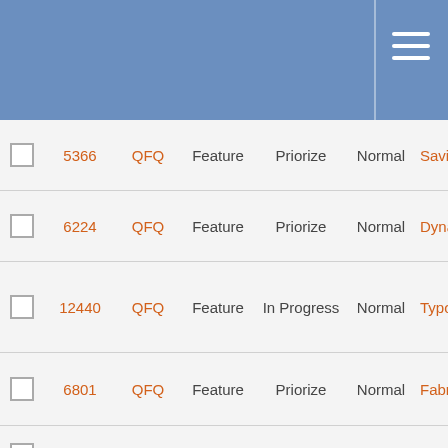|  | ID | Project | Type | Status | Priority | Title |
| --- | --- | --- | --- | --- | --- | --- |
|  | 5366 | QFQ | Feature | Priorize | Normal | Saving keyboard shortcu... |
|  | 6224 | QFQ | Feature | Priorize | Normal | Dynam update in/out f... |
|  | 12440 | QFQ | Feature | In Progress | Normal | Typo3 upgrad (durchf und tes... |
|  | 6801 | QFQ | Feature | Priorize | Normal | Fabric: Maximi Fulllscr... |
|  | 6140 | QFQ | Bug | Priorize | Normal | QFQ D Locked... |
|  | 7602 | QFQ | Feature | ToDo | High | Multi S with checkb... |
|  | 11892 | QFQ | Feature | New | Normal | tablesc column links ar to orde qualifie... |